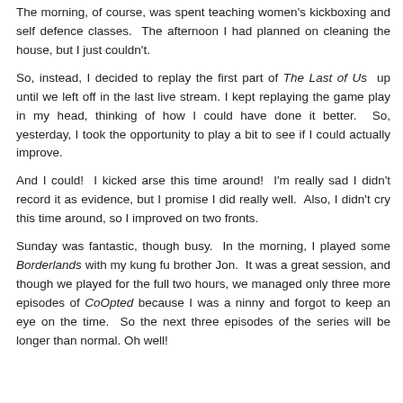The morning, of course, was spent teaching women's kickboxing and self defence classes.  The afternoon I had planned on cleaning the house, but I just couldn't.
So, instead, I decided to replay the first part of The Last of Us up until we left off in the last live stream. I kept replaying the game play in my head, thinking of how I could have done it better.  So, yesterday, I took the opportunity to play a bit to see if I could actually improve.
And I could!  I kicked arse this time around!  I'm really sad I didn't record it as evidence, but I promise I did really well.  Also, I didn't cry this time around, so I improved on two fronts.
Sunday was fantastic, though busy.  In the morning, I played some Borderlands with my kung fu brother Jon.  It was a great session, and though we played for the full two hours, we managed only three more episodes of CoOpted because I was a ninny and forgot to keep an eye on the time.  So the next three episodes of the series will be longer than normal. Oh well!